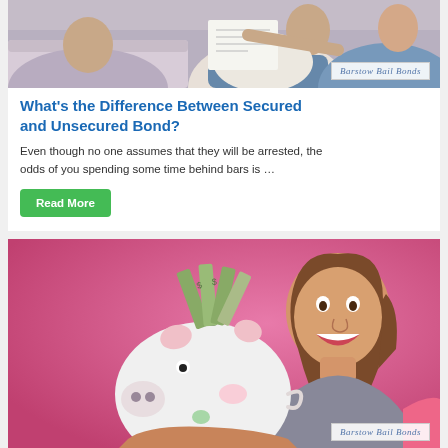[Figure (photo): Two people sitting on a couch looking at a document. Photo has a 'Barstow Bail Bonds' watermark overlay in the bottom right corner.]
What's the Difference Between Secured and Unsecured Bond?
Even though no one assumes that they will be arrested, the odds of you spending some time behind bars is …
Read More
[Figure (photo): A smiling woman holding a white piggy bank stuffed with dollar bills, against a pink background. Photo has a 'Barstow Bail Bonds' watermark overlay in the bottom right corner.]